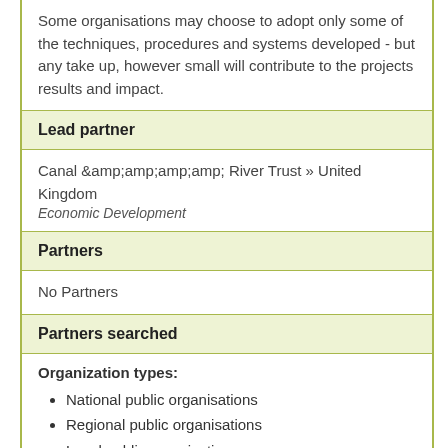Some organisations may choose to adopt only some of the techniques, procedures and systems developed - but any take up, however small will contribute to the projects results and impact.
Lead partner
Canal &amp;amp;amp;amp;amp; River Trust » United Kingdom
Economic Development
Partners
No Partners
Partners searched
Organization types:
National public organisations
Regional public organisations
Local public organisations
Universities and higher education
Research and innovation organisations